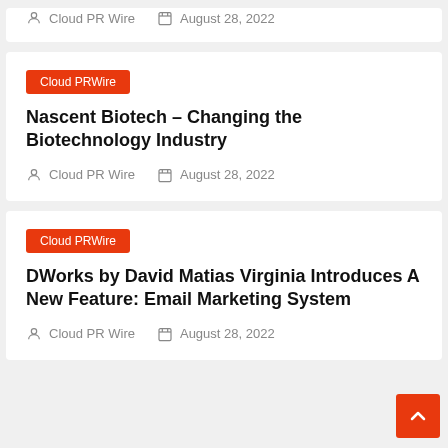Cloud PR Wire  August 28, 2022
Cloud PRWire
Nascent Biotech – Changing the Biotechnology Industry
Cloud PR Wire  August 28, 2022
Cloud PRWire
DWorks by David Matias Virginia Introduces A New Feature: Email Marketing System
Cloud PR Wire  August 28, 2022